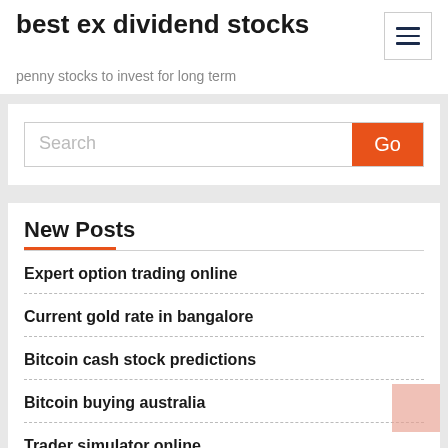best ex dividend stocks
penny stocks to invest for long term
Search
New Posts
Expert option trading online
Current gold rate in bangalore
Bitcoin cash stock predictions
Bitcoin buying australia
Trader simulator online